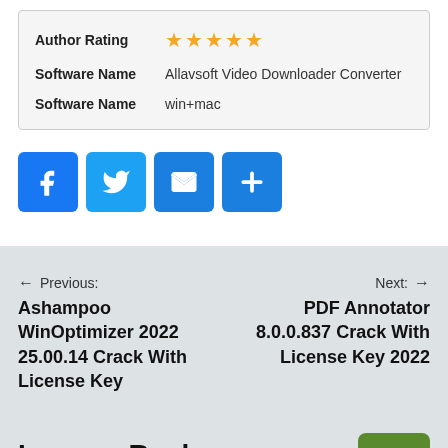| Field | Value |
| --- | --- |
| Author Rating | ★★★★★ |
| Software Name | Allavsoft Video Downloader Converter |
| Software Name | win+mac |
[Figure (infographic): Social share buttons: Facebook, Twitter, Email, Share (plus icon)]
← Previous: Ashampoo WinOptimizer 2022 25.00.14 Crack With License Key
Next: → PDF Annotator 8.0.0.837 Crack With License Key 2022
Leave a Reply
Your email address will not be published. Required fields